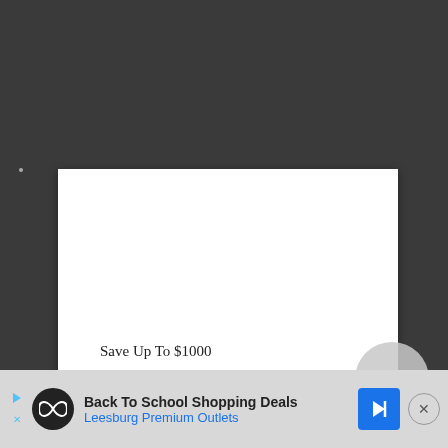[Figure (screenshot): Dark grey background with a white rectangular card partially visible, containing the text 'Save Up To $1000'. A grey 'to top' circular button overlaps the card's bottom-right corner. A small grey dot is visible on the left side.]
Save Up To $1000
[Figure (screenshot): Advertisement banner at the bottom: 'Back To School Shopping Deals' from 'Leesburg Premium Outlets' with a play button, logo circle with infinity symbol, blue navigation arrow icon, and a close (x) button.]